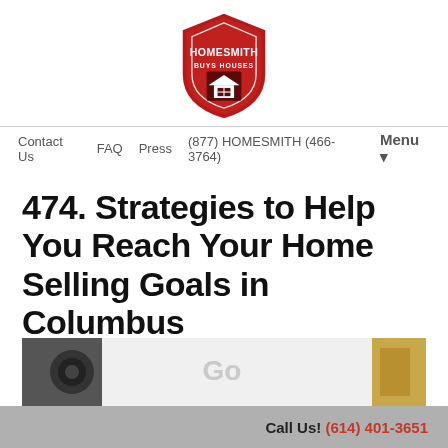[Figure (logo): Homesmith Buys Houses shield logo in red with white house icon]
Contact Us   FAQ   Press   (877) HOMESMITH (466-3764)   Menu ▼
474. Strategies to Help You Reach Your Home Selling Goals in Columbus
September 14, 2021
By Homesmith
[Figure (photo): Partial photo showing a pen and a Google search bar on paper]
Call Us! (614) 401-3651